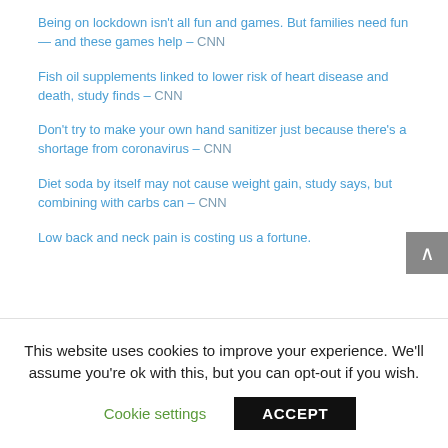Being on lockdown isn't all fun and games. But families need fun — and these games help – CNN
Fish oil supplements linked to lower risk of heart disease and death, study finds – CNN
Don't try to make your own hand sanitizer just because there's a shortage from coronavirus – CNN
Diet soda by itself may not cause weight gain, study says, but combining with carbs can – CNN
Low back and neck pain is costing us a fortune.
This website uses cookies to improve your experience. We'll assume you're ok with this, but you can opt-out if you wish.
Cookie settings   ACCEPT